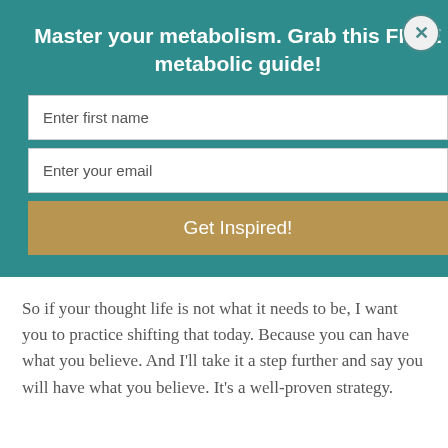Master your metabolism. Grab this FREE metabolic guide!
Enter first name
Enter your email
Get Inspired!
And your actions determine your results.
So if your thought life is not what it needs to be, I want you to practice shifting that today. Because you can have what you believe. And I'll take it a step further and say you will have what you believe. It's a well-proven strategy.